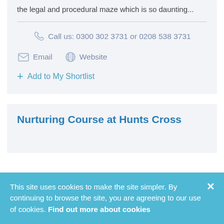the legal and procedural maze which is so daunting...
Call us: 0300 302 3731 or 0208 538 3731
Email
Website
+ Add to My Shortlist
Nurturing Course at Hunts Cross
This site uses cookies to make the site simpler. By continuing to browse the site, you are agreeing to our use of cookies. Find out more about cookies